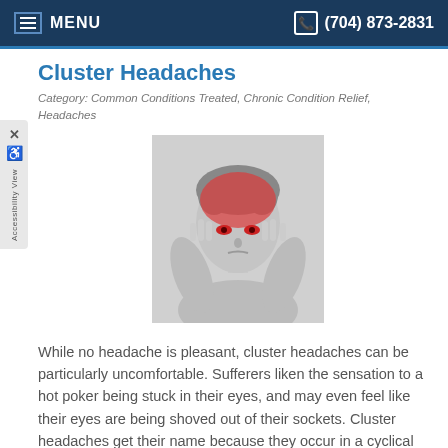MENU  (704) 873-2831
Cluster Headaches
Category: Common Conditions Treated, Chronic Condition Relief, Headaches
[Figure (photo): Grayscale photo of a woman pressing her fingers to her temples, with red/pain highlight overlay on her head area]
While no headache is pleasant, cluster headaches can be particularly uncomfortable. Sufferers liken the sensation to a hot poker being stuck in their eyes, and may even feel like their eyes are being shoved out of their sockets. Cluster headaches get their name because they occur in a cyclical pattern.
Read more